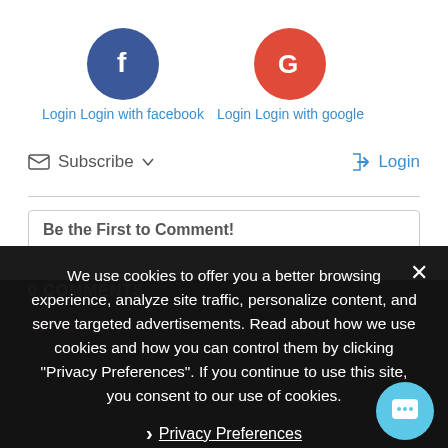[Figure (screenshot): Facebook login button: dark blue circle with white 'f' icon, labeled 'Login Login with facebook' in blue text]
[Figure (screenshot): Google login button: red-orange circle with white 'G' icon, labeled 'Login Login with google' in blue text]
Subscribe ▼
➡ Login
Be the First to Comment!
0 COMMENTS
We use cookies to offer you a better browsing experience, analyze site traffic, personalize content, and serve targeted advertisements. Read about how we use cookies and how you can control them by clicking "Privacy Preferences". If you continue to use this site, you consent to our use of cookies.
❯ Privacy Preferences
I Agree